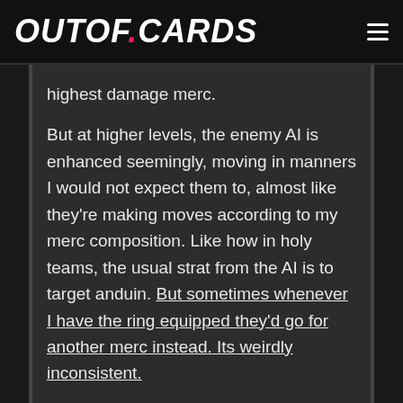OUTOF.CARDS
highest damage merc.
But at higher levels, the enemy AI is enhanced seemingly, moving in manners I would not expect them to, almost like they're making moves according to my merc composition. Like how in holy teams, the usual strat from the AI is to target anduin. But sometimes whenever I have the ring equipped they'd go for another merc instead. Its weirdly inconsistent.
I've stopped relying on the AI ages ago. In some cases I would farm at higher levels